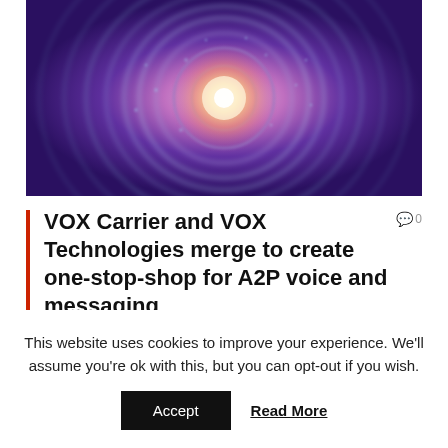[Figure (photo): Abstract digital art image showing concentric circular energy waves in purple and blue tones with a bright glowing center, resembling a fractal or mandala pattern.]
VOX Carrier and VOX Technologies merge to create one-stop-shop for A2P voice and messaging
This website uses cookies to improve your experience. We'll assume you're ok with this, but you can opt-out if you wish.